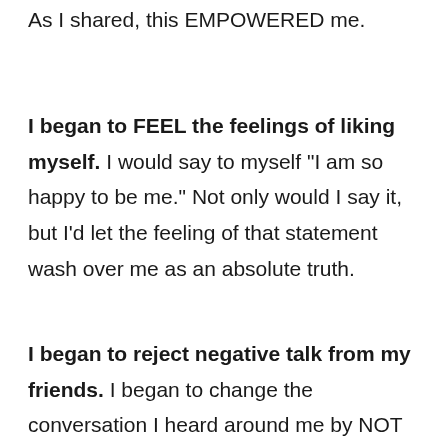As I shared, this EMPOWERED me.
I began to FEEL the feelings of liking myself. I would say to myself “I am so happy to be me.” Not only would I say it, but I’d let the feeling of that statement wash over me as an absolute truth.
I began to reject negative talk from my friends. I began to change the conversation I heard around me by NOT participating in any conversation that...